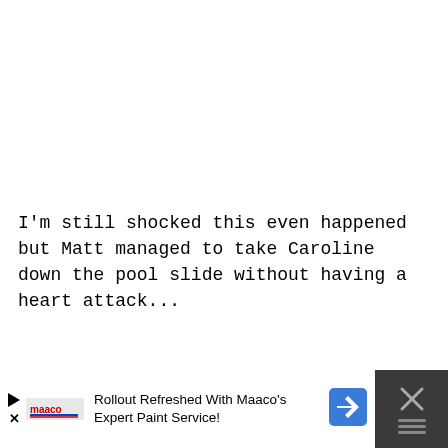I'm still shocked this even happened but Matt managed to take Caroline down the pool slide without having a heart attack...
[Figure (screenshot): Advertisement banner for Maaco paint service at the bottom of the page, with play/close buttons, Maaco logo, text 'Rollout Refreshed With Maaco's Expert Paint Service!' and a blue navigation arrow icon.]